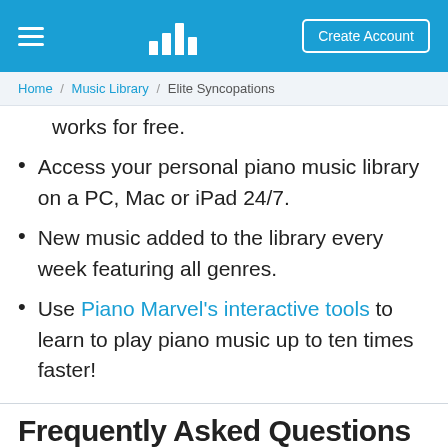≡  [bar chart icon]  Create Account
Home / Music Library / Elite Syncopations
works for free.
Access your personal piano music library on a PC, Mac or iPad 24/7.
New music added to the library every week featuring all genres.
Use Piano Marvel's interactive tools to learn to play piano music up to ten times faster!
Frequently Asked Questions